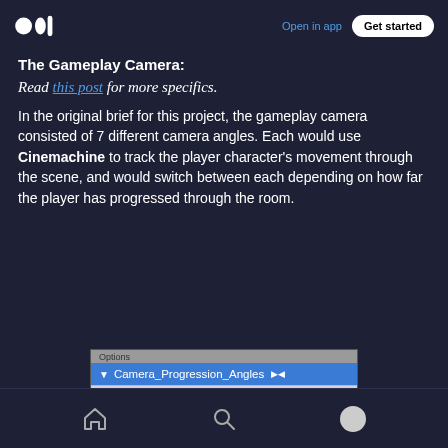Medium logo | Open in app | Get started
The Gameplay Camera:
Read this post for more specifics.
In the original brief for this project, the gameplay camera consisted of 7 different camera angles. Each would use Cinemachine to track the player character's movement through the scene, and would switch between each depending on how far the player has progressed through the room.
[Figure (screenshot): A Unity editor hierarchy panel screenshot showing 'Camera_Progression_Angles' selected (highlighted in blue), with children Camera_One, Camera_Two, Camera_Three visible below it.]
Home | Search | Profile navigation icons